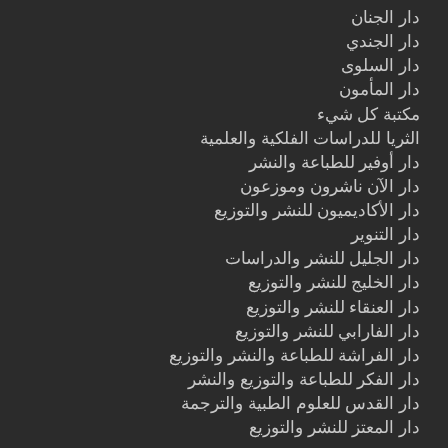دار الجنان
دار الجندي
دار السلوى
دار المأمون
مكتبة كل شيء
الثريا للدراسات الفلكية والعلمية
دار أوفير للطباعة والنشر
دار الآن ناشرون وموزعون
دار الأكاديميون للنشر والتوزيع
دار التنوير
دار الجليل للنشر والدراسات
دار الخليج للنشر والتوزيع
دار العنقاء للنشر والتوزيع
دار الفارابي للنشر والتوزيع
دار الفراشة للطباعة والنشر والتوزيع
دار الفكر للطباعة والتوزيع والنشر
دار القدس للعلوم الطبية والترجمة
دار المعتز للنشر والتوزيع